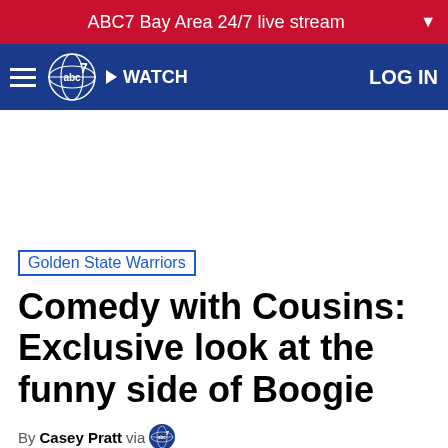ABC7 Bay Area 24/7 live stream
[Figure (logo): ABC7 navigation bar with hamburger menu, abc7 logo, WATCH button, and LOG IN link on dark blue background]
[Figure (other): Advertisement white space area]
Golden State Warriors
Comedy with Cousins: Exclusive look at the funny side of Boogie
By Casey Pratt via [abc7 logo]
Saturday, March 9, 2019